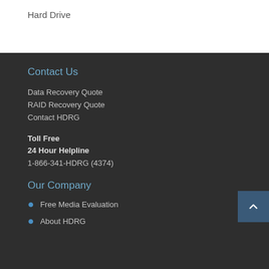Hard Drive
Contact Us
Data Recovery Quote
RAID Recovery Quote
Contact HDRG
Toll Free
24 Hour Helpline
1-866-341-HDRG (4374)
Our Company
Free Media Evaluation
About HDRG